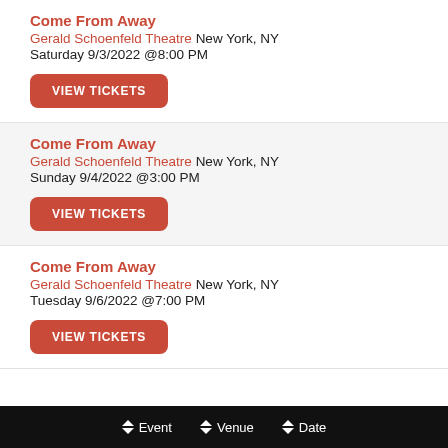Come From Away
Gerald Schoenfeld Theatre New York, NY
Saturday 9/3/2022 @8:00 PM
VIEW TICKETS
Come From Away
Gerald Schoenfeld Theatre New York, NY
Sunday 9/4/2022 @3:00 PM
VIEW TICKETS
Come From Away
Gerald Schoenfeld Theatre New York, NY
Tuesday 9/6/2022 @7:00 PM
VIEW TICKETS
♦ Event  ♦ Venue  ♦ Date